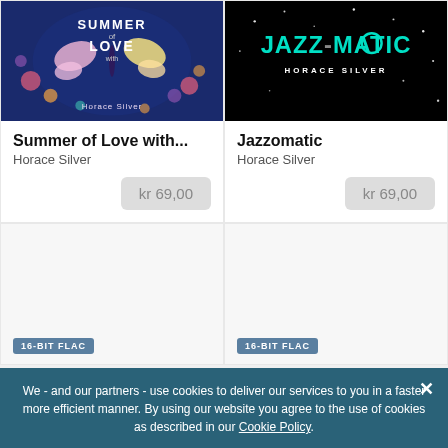[Figure (illustration): Album cover for 'Summer of Love with...' by Horace Silver — blue floral background with butterflies and the text 'Summer of Love with Horace Silver']
Summer of Love with...
Horace Silver
kr 69,00
[Figure (illustration): Album cover for 'Jazzomatic' by Horace Silver — black background with teal text 'JAZZOMATIC', white text 'HORACE SILVER', scattered white dots resembling stars]
Jazzomatic
Horace Silver
kr 69,00
[Figure (other): Empty card with 16-BIT FLAC badge at bottom]
[Figure (other): Empty card with 16-BIT FLAC badge at bottom]
We - and our partners - use cookies to deliver our services to you in a faster more efficient manner. By using our website you agree to the use of cookies as described in our Cookie Policy.